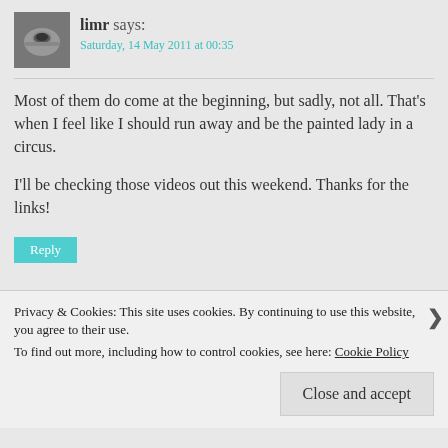[Figure (photo): Black and white photo avatar of a cup/mug, used as commenter profile picture]
limr says: Saturday, 14 May 2011 at 00:35
Most of them do come at the beginning, but sadly, not all. That's when I feel like I should run away and be the painted lady in a circus.

I'll be checking those videos out this weekend. Thanks for the links!
Reply
Privacy & Cookies: This site uses cookies. By continuing to use this website, you agree to their use.
To find out more, including how to control cookies, see here: Cookie Policy
Close and accept